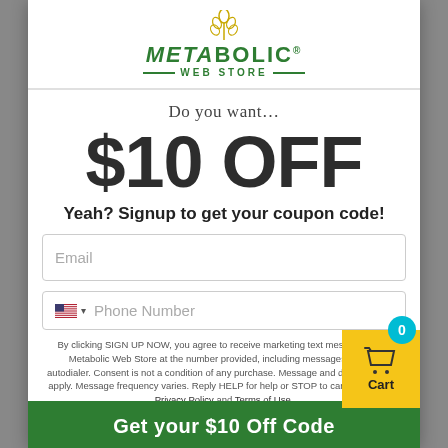[Figure (logo): Metabolic Web Store logo with wheat icon in gold and green text]
Do you want…
$10 OFF
Yeah? Signup to get your coupon code!
Email
Phone Number
By clicking SIGN UP NOW, you agree to receive marketing text messages from Metabolic Web Store at the number provided, including messages sent by autodialer. Consent is not a condition of any purchase. Message and data rates may apply. Message frequency varies. Reply HELP for help or STOP to cancel. View our Privacy Policy and Terms of Use.
Get your $10 Off Code